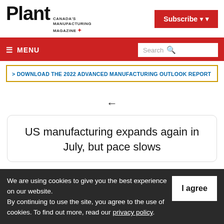Plant — Canada's Manufacturing Magazine
Subscribe
≡ MENU
Search
> DOWNLOAD THE 2022 ADVANCED MANUFACTURING OUTLOOK REPORT
US manufacturing expands again in July, but pace slows
We are using cookies to give you the best experience on our website. By continuing to use the site, you agree to the use of cookies. To find out more, read our privacy policy.